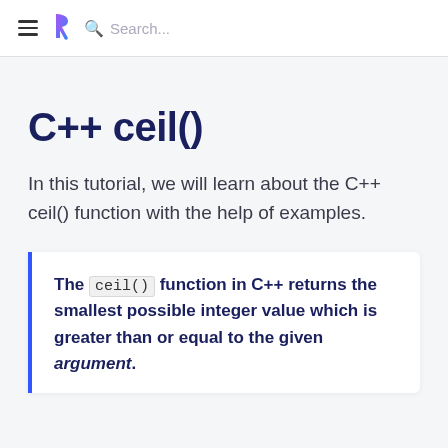≡ ? Search...
C++ ceil()
In this tutorial, we will learn about the C++ ceil() function with the help of examples.
The ceil() function in C++ returns the smallest possible integer value which is greater than or equal to the given argument.